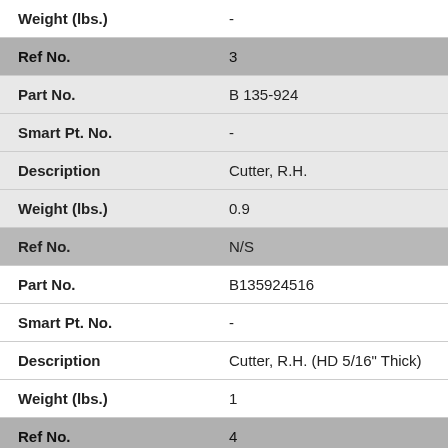| Field | Value |
| --- | --- |
| Weight (lbs.) | - |
| Ref No. | 3 |
| Part No. | B 135-924 |
| Smart Pt. No. | - |
| Description | Cutter, R.H. |
| Weight (lbs.) | 0.9 |
| Ref No. | N/S |
| Part No. | B135924516 |
| Smart Pt. No. | - |
| Description | Cutter, R.H. (HD 5/16" Thick) |
| Weight (lbs.) | 1 |
| Ref No. | 4 |